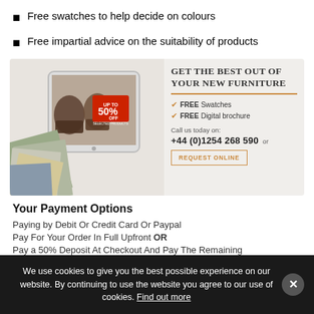Free swatches to help decide on colours
Free impartial advice on the suitability of products
[Figure (infographic): Promotional banner for furniture: left side shows tablet with Chesterfield chairs and fabric swatches with '50% OFF' badge; right side says 'GET THE BEST OUT OF YOUR NEW FURNITURE' with FREE Swatches, FREE Digital brochure, phone number +44 (0)1254 268 590 and REQUEST ONLINE button]
Your Payment Options
Paying by Debit Or Credit Card Or Paypal
Pay For Your Order In Full Upfront OR
Pay a 50% Deposit At Checkout And Pay The Remaining
We use cookies to give you the best possible experience on our website. By continuing to use the website you agree to our use of cookies. Find out more